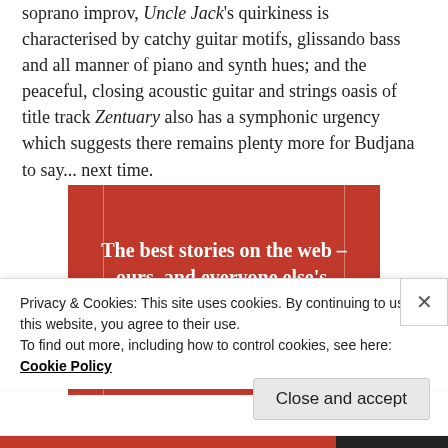soprano improv, Uncle Jack's quirkiness is characterised by catchy guitar motifs, glissando bass and all manner of piano and synth hues; and the peaceful, closing acoustic guitar and strings oasis of title track Zentuary also has a symphonic urgency which suggests there remains plenty more for Budjana to say... next time.
[Figure (infographic): Red promotional banner reading 'The best stories on the web – ours, and everyone else's.' with a black 'Start reading' button]
Privacy & Cookies: This site uses cookies. By continuing to use this website, you agree to their use.
To find out more, including how to control cookies, see here: Cookie Policy
Close and accept